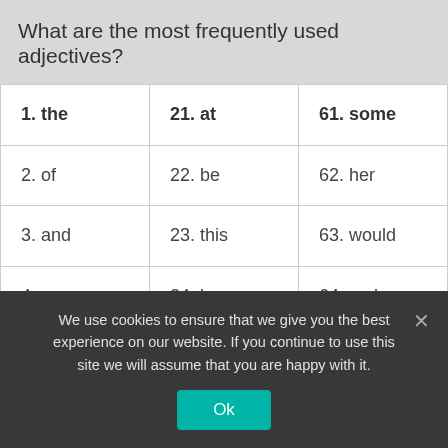What are the most frequently used adjectives?
| 1. the | 21. at | 61. some |
| 2. of | 22. be | 62. her |
| 3. and | 23. this | 63. would |
| 4. a | 24. have | 64. make |
| 5. to | 25. from | 65. like |
We use cookies to ensure that we give you the best experience on our website. If you continue to use this site we will assume that you are happy with it.